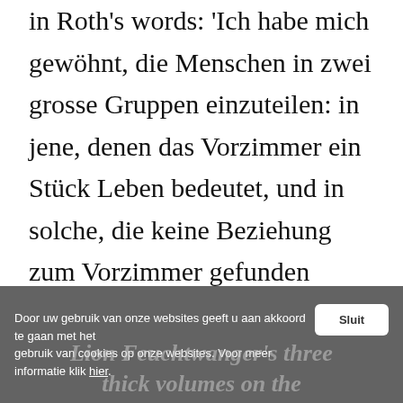in Roth's words: 'Ich habe mich gewöhnt, die Menschen in zwei grosse Gruppen einzuteilen: in jene, denen das Vorzimmer ein Stück Leben bedeutet, und in solche, die keine Beziehung zum Vorzimmer gefunden haben, in solche, die warten, und in andere, die warten lassen.'
Door uw gebruik van onze websites geeft u aan akkoord te gaan met het gebruik van cookies op onze websites. Voor meer informatie klik hier. [Sluit]
Lion Feuchtwanger's three thick volumes on the